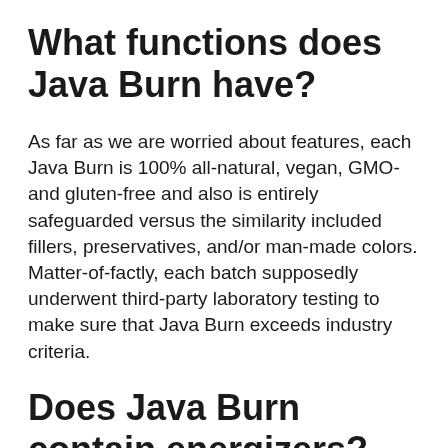What functions does Java Burn have?
As far as we are worried about features, each Java Burn is 100% all-natural, vegan, GMO-and gluten-free and also is entirely safeguarded versus the similarity included fillers, preservatives, and/or man-made colors. Matter-of-factly, each batch supposedly underwent third-party laboratory testing to make sure that Java Burn exceeds industry criteria.
Does Java Burn contain energizers?
No, although this formula consists of